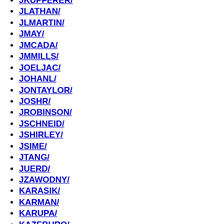JKUPFERER/
JLATHAN/
JLMARTIN/
JMAY/
JMCADA/
JMMILLS/
JOELJAC/
JOHANL/
JONTAYLOR/
JOSHR/
JROBINSON/
JSCHNEID/
JSHIRLEY/
JSIME/
JTANG/
JUERD/
JZAWODNY/
KARASIK/
KARMAN/
KARUPA/
KAZEBURO/
KAZUHO/
KENTNL/
KESTEB/
KFLY/